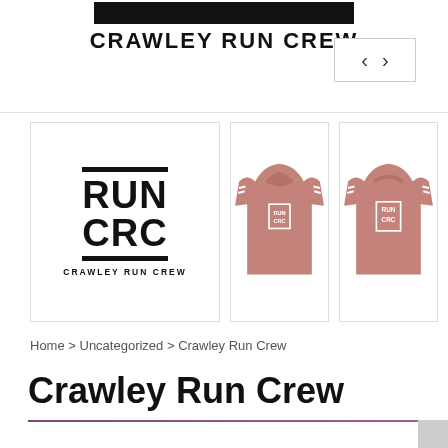[Figure (logo): Crawley Run Crew logo: black bar at top, RUN CRC text in bold black, CRAWLEY RUN CREW text below, navigation arrows top right]
[Figure (photo): Pink/dusty rose t-shirt front view with RUN CRC logo on chest]
[Figure (photo): Pink/dusty rose t-shirt back view with RUN CRC logo on back]
Home > Uncategorized > Crawley Run Crew
Crawley Run Crew